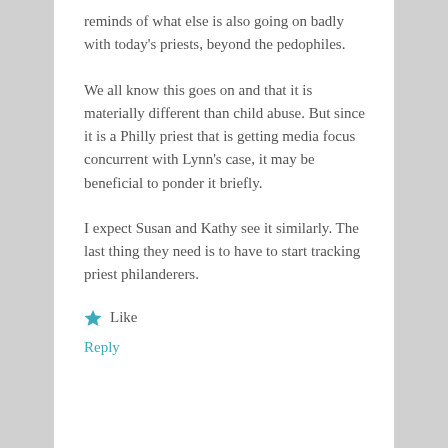reminds of what else is also going on badly with today's priests, beyond the pedophiles.
We all know this goes on and that it is materially different than child abuse. But since it is a Philly priest that is getting media focus concurrent with Lynn's case, it may be beneficial to ponder it briefly.
I expect Susan and Kathy see it similarly. The last thing they need is to have to start tracking priest philanderers.
Like
Reply